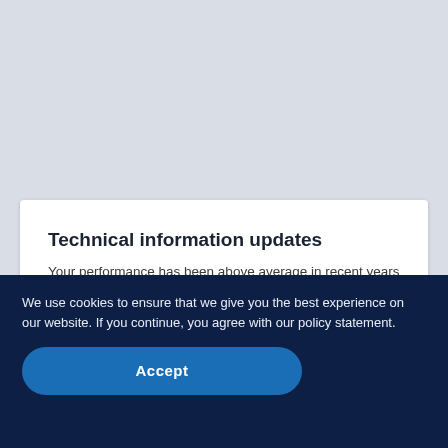Technical information updates
Your performance has been above average in recent years and your production equipment has grown accordingly? Congratulation! But not like that! Already today, think about how the growing complexity of your equipment can be mastered. With our service Technical
Read further →
We use cookies to ensure that we give you the best experience on our website. If you continue, you agree with our policy statement.